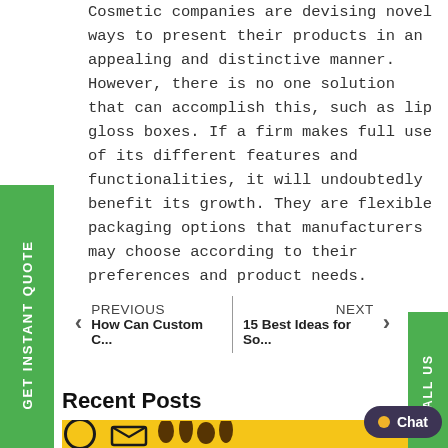Cosmetic companies are devising novel ways to present their products in an appealing and distinctive manner. However, there is no one solution that can accomplish this, such as lip gloss boxes. If a firm makes full use of its different features and functionalities, it will undoubtedly benefit its growth. They are flexible packaging options that manufacturers may choose according to their preferences and product needs.
GET INSTANT QUOTE
CALL US
PREVIOUS
How Can Custom C...
NEXT
15 Best Ideas for So...
Recent Posts
[Figure (screenshot): Partial image showing a yellow background with packaging logo icons and a chocolate/brown drip design, cropped at bottom of page.]
Chat